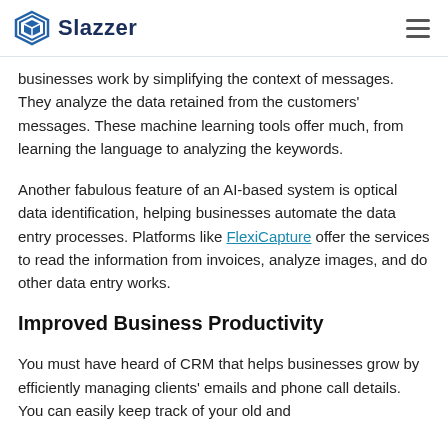Slazzer
businesses work by simplifying the context of messages. They analyze the data retained from the customers' messages. These machine learning tools offer much, from learning the language to analyzing the keywords.
Another fabulous feature of an AI-based system is optical data identification, helping businesses automate the data entry processes. Platforms like FlexiCapture offer the services to read the information from invoices, analyze images, and do other data entry works.
Improved Business Productivity
You must have heard of CRM that helps businesses grow by efficiently managing clients' emails and phone call details. You can easily keep track of your old and new clients...